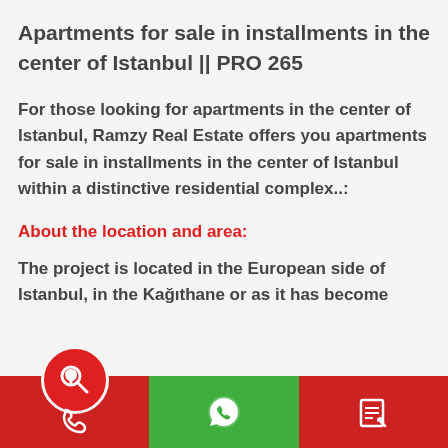Apartments for sale in installments in the center of Istanbul || PRO 265
For those looking for apartments in the center of Istanbul, Ramzy Real Estate offers you apartments for sale in installments in the center of Istanbul within a distinctive residential complex..:
About the location and area:
The project is located in the European side of Istanbul, in the Kağıthane or as it has become